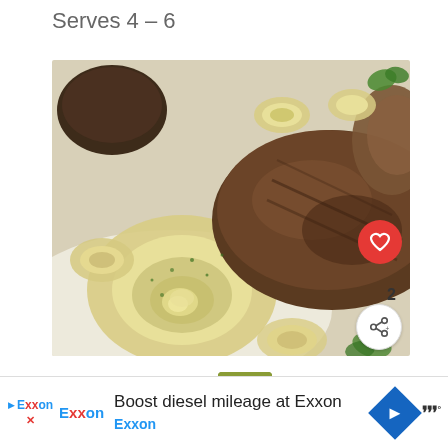Serves 4 – 6
[Figure (photo): Close-up photo of pasta (lumache/snail-shaped pasta) with roasted mushrooms and fresh herb garnish (parsley/mint) on a white plate]
2
WHAT'S NEXT → Creamy Mushroom ...
Boost diesel mileage at Exxon Exxon